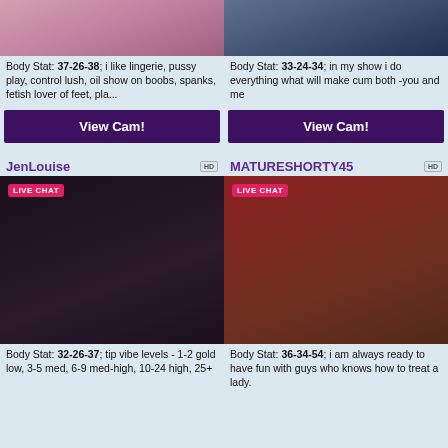[Figure (photo): Top-left performer thumbnail showing lingerie]
[Figure (photo): Top-right performer thumbnail in dark stockings]
Body Stat: 37-26-38; i like lingerie, pussy play, control lush, oil show on boobs, spanks, fetish lover of feet, pla...
Body Stat: 33-24-34; in my show i do everything what will make cum both -you and me
View Cam!
View Cam!
JenLouise
MATURESHORTY45
[Figure (photo): JenLouise in black lace corset with pink ribbon, LIVE CHAT badge]
[Figure (photo): MATURESHORTY45 in red outfit, curly blonde hair, LIVE CHAT badge]
Body Stat: 32-26-37; tip vibe levels - 1-2 gold low, 3-5 med, 6-9 med-high, 10-24 high, 25+
Body Stat: 36-34-54; i am always ready to have fun with guys who knows how to treat a lady.